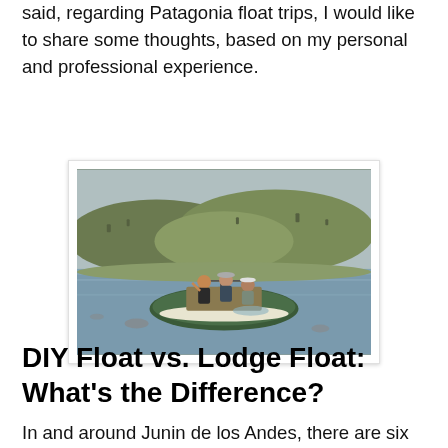said, regarding Patagonia float trips, I would like to share some thoughts, based on my personal and professional experience.
[Figure (photo): Three people on an inflatable raft/boat on a river with hills in the background in Patagonia. One person is in the water beside the boat.]
DIY Float vs. Lodge Float: What's the Difference?
In and around Junin de los Andes, there are six lodges and three...